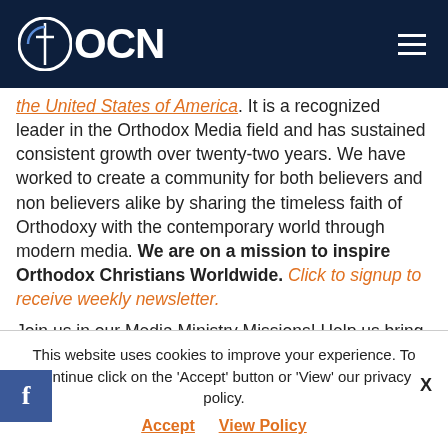OCN
the United States of America. It is a recognized leader in the Orthodox Media field and has sustained consistent growth over twenty-two years. We have worked to create a community for both believers and non believers alike by sharing the timeless faith of Orthodoxy with the contemporary world through modern media. We are on a mission to inspire Orthodox Christians Worldwide. Click to signup to receive weekly newsletter.
Join us in our Media Ministry Missions! Help us bring the Orthodox Faith to the fingertips of Orthodox Christians worldwide! Your gift today will helps us produce and
This website uses cookies to improve your experience. To continue click on the 'Accept' button or 'View' our privacy policy. Accept  View Policy